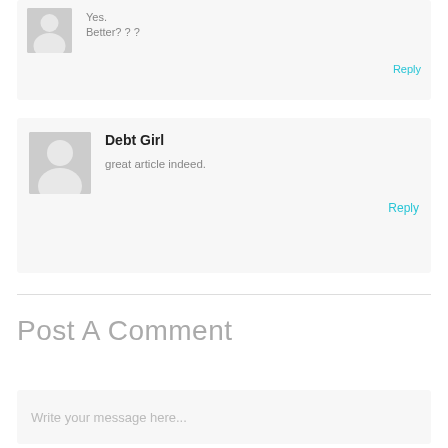Yes.
Better? ? ?
Reply
Debt Girl
great article indeed.
Reply
Post A Comment
Write your message here...